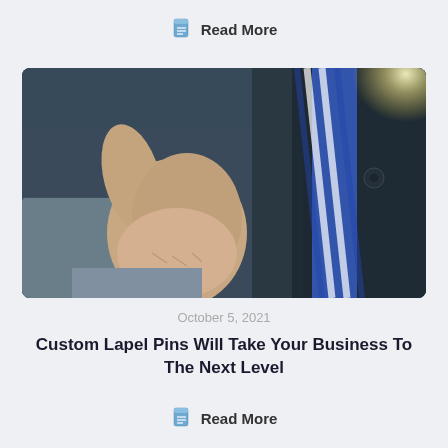Read More
[Figure (photo): Business man in dark suit giving thumbs up gesture, wearing a striped blue and white tie, with a bright lens flare in the background.]
October 5, 2021
Custom Lapel Pins Will Take Your Business To The Next Level
Read More